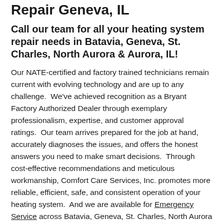Repair Geneva, IL
Call our team for all your heating system repair needs in Batavia, Geneva, St. Charles, North Aurora & Aurora, IL!
Our NATE-certified and factory trained technicians remain current with evolving technology and are up to any challenge.  We've achieved recognition as a Bryant Factory Authorized Dealer through exemplary professionalism, expertise, and customer approval ratings.  Our team arrives prepared for the job at hand, accurately diagnoses the issues, and offers the honest answers you need to make smart decisions.  Through cost-effective recommendations and meticulous workmanship, Comfort Care Services, Inc. promotes more reliable, efficient, safe, and consistent operation of your heating system.  And we are available for Emergency Service across Batavia, Geneva, St. Charles, North Aurora & Aurora, IL.
Furnace Repair • Batavia, Geneva, St. Charles, North Aurora & Aurora, IL